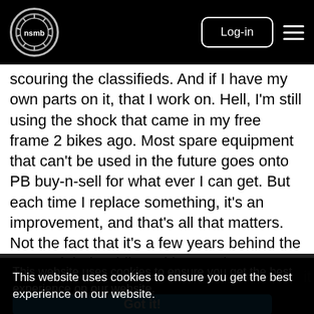nsmb — Log-in
scouring the classifieds. And if I have my own parts on it, that I work on. Hell, I'm still using the shock that came in my free frame 2 bikes ago. Most spare equipment that can't be used in the future goes onto PB buy-n-sell for what ever I can get. But each time I replace something, it's an improvement, and that's all that matters. Not the fact that it's a few years behind the guy I might be riding with. It make ME better than the last ride I was on, and still gives me the "new factor" without
This website uses cookies to ensure you get the best experience on our website.
Learn more
Got it!